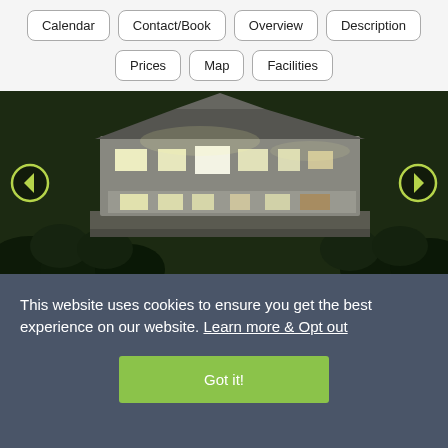Calendar | Contact/Book | Overview | Description | Prices | Map | Facilities
[Figure (photo): Nighttime exterior photo of a large illuminated property/villa surrounded by trees and garden, with navigation arrows on left and right sides.]
This website uses cookies to ensure you get the best experience on our website. Learn more & Opt out
Got it!